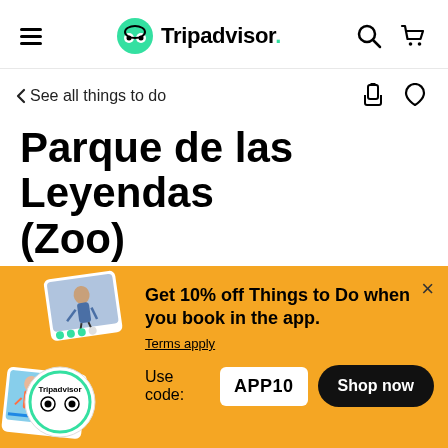Tripadvisor navigation bar with hamburger menu, Tripadvisor logo, search icon, and cart icon
< See all things to do
Parque de las Leyendas (Zoo)
[Figure (screenshot): Promotional banner with yellow background showing travel images, Tripadvisor badge, text 'Get 10% off Things to Do when you book in the app.', Terms apply link, Use code: APP10, and Shop now button]